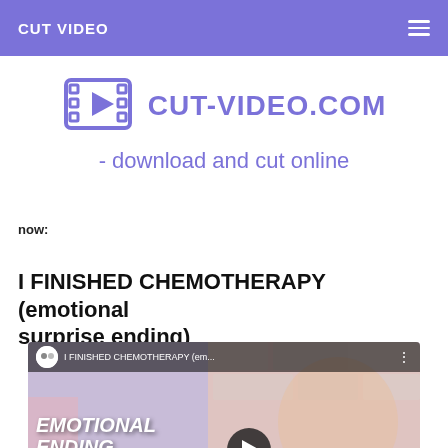CUT VIDEO
[Figure (logo): Film strip icon with play button, purple outline]
CUT-VIDEO.COM - download and cut online
now:
I FINISHED CHEMOTHERAPY (emotional surprise ending)
[Figure (screenshot): YouTube video thumbnail showing a bald woman crying with text EMOTIONAL ENDING overlaid, with a play button]